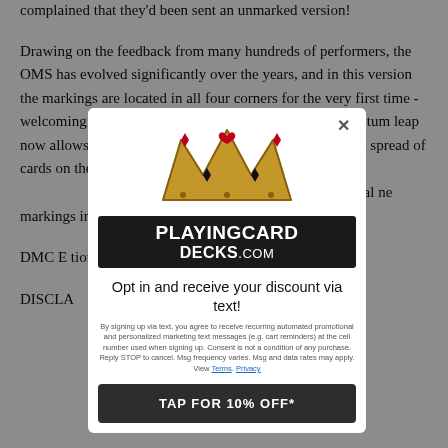complained that they'd been sent an unmarked version!
Drawing on the feedback from many hundreds of performers, the OMS has evolved significantly over the years, and in this version the markings are located in all four corners for the very first time - welcoming lefties into the ELITES family. A second quantum leap now allows the markings to be read from a relatively slim spread of cards on the table - or even a fan of cards held in the hands. Finally, the deck also now features a very clear... [obscured by modal] ...d reads a... [obscured] ...ch deck al... [obscured] ...ne markings... [obscured] ...internationally...
[Figure (logo): PlayingCardDecks.com popup modal with crown logo, opt-in text, legal disclaimer and TAP FOR 10% OFF* button]
DMC E... [obscured] ...tion - now gre...
DISCLA...